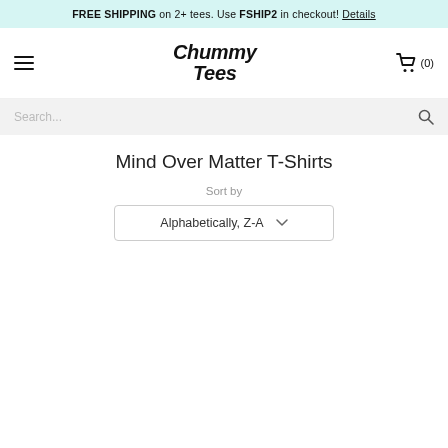FREE SHIPPING on 2+ tees. Use FSHIP2 in checkout! Details
[Figure (logo): Chummy Tees logo in stylized italic font with hamburger menu icon on left and shopping cart icon on right showing (0) items]
Search...
Mind Over Matter T-Shirts
Sort by
Alphabetically, Z-A